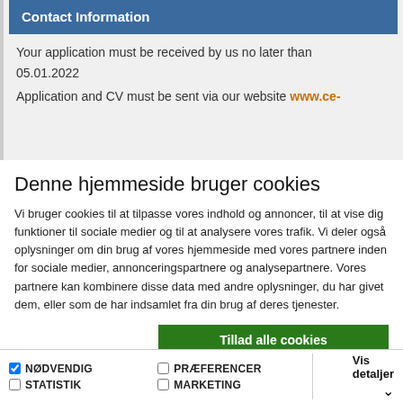Contact Information
Your application must be received by us no later than
05.01.2022
Application and CV must be sent via our website www.ce-
Denne hjemmeside bruger cookies
Vi bruger cookies til at tilpasse vores indhold og annoncer, til at vise dig funktioner til sociale medier og til at analysere vores trafik. Vi deler også oplysninger om din brug af vores hjemmeside med vores partnere inden for sociale medier, annonceringspartnere og analysepartnere. Vores partnere kan kombinere disse data med andre oplysninger, du har givet dem, eller som de har indsamlet fra din brug af deres tjenester.
Tillad alle cookies
Tillad valgte
Kun nødvendige cookies
NØDVENDIG  PRÆFERENCER  STATISTIK  MARKETING  Vis detaljer